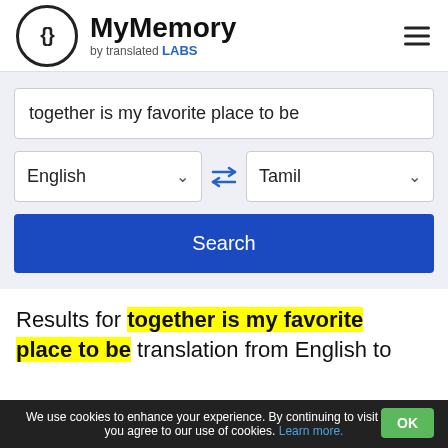MyMemory by translated LABS
together is my favorite place to be
English | Tamil
Search
Results for together is my favorite place to be translation from English to
We use cookies to enhance your experience. By continuing to visit this site you agree to our use of cookies. Learn more. OK